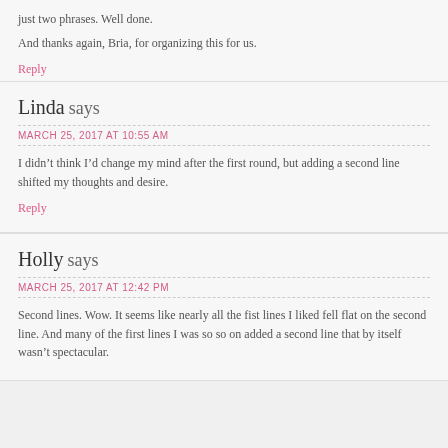just two phrases. Well done.
And thanks again, Bria, for organizing this for us.
Reply
Linda says
MARCH 25, 2017 AT 10:55 AM
I didn't think I'd change my mind after the first round, but adding a second line shifted my thoughts and desire.
Reply
Holly says
MARCH 25, 2017 AT 12:42 PM
Second lines. Wow. It seems like nearly all the fist lines I liked fell flat on the second line. And many of the first lines I was so so on added a second line that by itself wasn't spectacular.